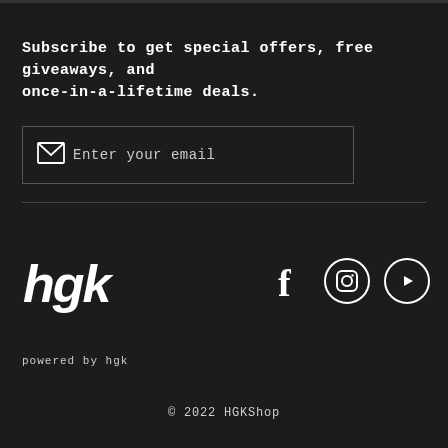Subscribe to get special offers, free giveaways, and once-in-a-lifetime deals.
[Figure (other): Email input field with envelope icon and placeholder text 'Enter your email']
[Figure (logo): HGK logo with stylized white text 'hgk' and yellow star]
[Figure (other): Social media icons: Facebook, Instagram, YouTube]
powered by hgk
© 2022 HGKShop